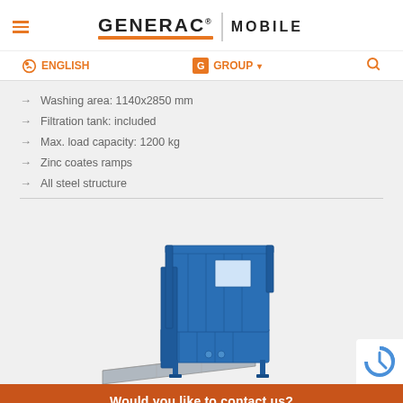GENERAC MOBILE
ENGLISH | G GROUP | Search
Washing area: 1140x2850 mm
Filtration tank: included
Max. load capacity: 1200 kg
Zinc coates ramps
All steel structure
[Figure (photo): Blue industrial washing/loading platform with ramp, showing a steel enclosed box structure with a hinged access ramp at the front, mounted on steel legs.]
Would you like to contact us?